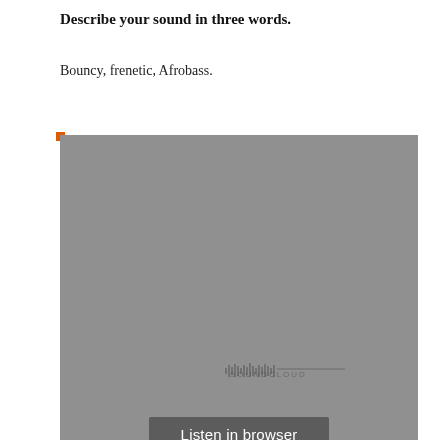Describe your sound in three words.
Bouncy, frenetic, Afrobass.
[Figure (screenshot): SoundCloud embedded player widget with gray background showing a 'Play on SoundCloud' orange button and a 'Listen in browser' dark button overlay.]